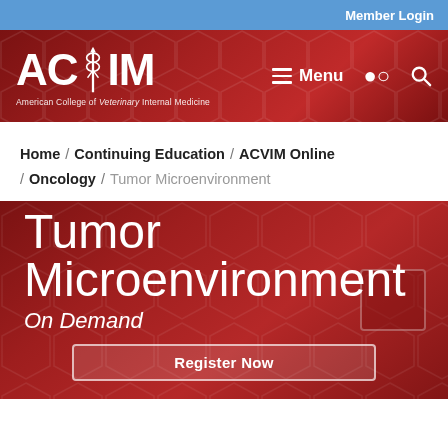Member Login
[Figure (logo): ACVIM logo — American College of Veterinary Internal Medicine, with caduceus icon, white text on dark red background. Navigation bar with hamburger Menu and search icon.]
Home / Continuing Education / ACVIM Online / Oncology / Tumor Microenvironment
Tumor Microenvironment
On Demand
Register Now